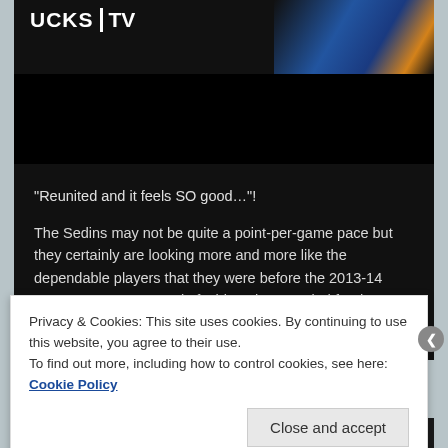[Figure (screenshot): TV broadcast logo area showing 'UCKS TV' text with vertical bar separator, and a partially visible hockey player wearing a blue and yellow jersey on the right side, against a black background]
[Figure (photo): Black video player area below the logo]
“Reunited and it feels SO good…”!
The Sedins may not be quite a point-per-game pace but they certainly are looking more and more like the dependable players that they were before the 2013-14 NHL season. In true twin fashion, they are tied for the
Privacy & Cookies: This site uses cookies. By continuing to use this website, you agree to their use.
To find out more, including how to control cookies, see here: Cookie Policy
Close and accept